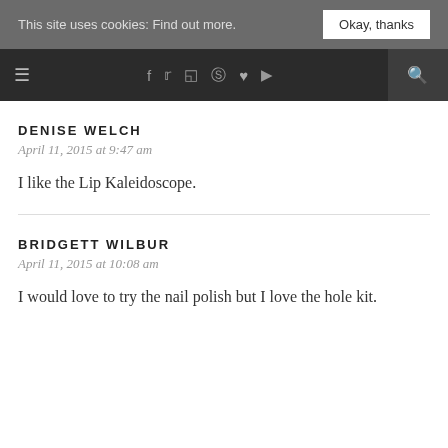This site uses cookies: Find out more. Okay, thanks
[Figure (screenshot): Navigation bar with hamburger menu, social media icons (Facebook, Twitter, Instagram, Pinterest, heart/Bloglovin, YouTube), and search icon]
DENISE WELCH
April 11, 2015 at 9:47 am
I like the Lip Kaleidoscope.
BRIDGETT WILBUR
April 11, 2015 at 10:08 am
I would love to try the nail polish but I love the hole kit.